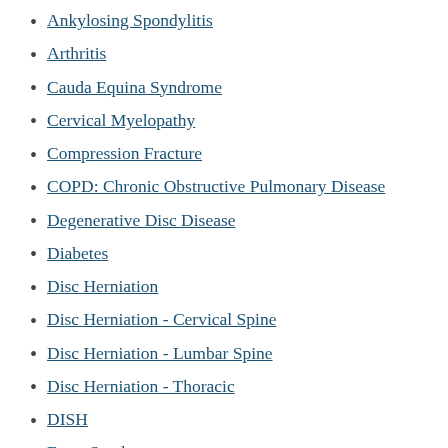Ankylosing Spondylitis
Arthritis
Cauda Equina Syndrome
Cervical Myelopathy
Compression Fracture
COPD: Chronic Obstructive Pulmonary Disease
Degenerative Disc Disease
Diabetes
Disc Herniation
Disc Herniation - Cervical Spine
Disc Herniation - Lumbar Spine
Disc Herniation - Thoracic
DISH
Facet Syndrome
Failed Back Surgical Syndrome
Femoral Nerve Root Pain
GOIC Syndrome
Headache
Hyperkyphosis
Interstitial Cystitis
Irritable Bowel Syndrome
Klippel Feil Syndrome